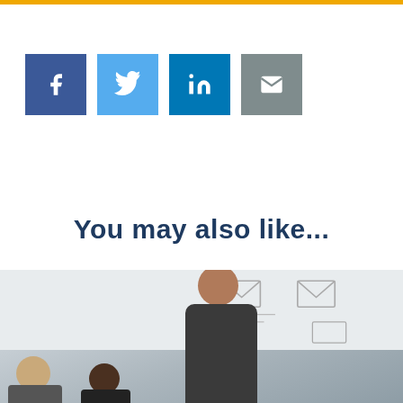[Figure (infographic): Social media share buttons: Facebook (dark blue), Twitter (light blue), LinkedIn (teal blue), Email (grey)]
You may also like...
[Figure (photo): Photo of a person in a dark shirt writing or drawing on a whiteboard, with other people seated in the foreground]